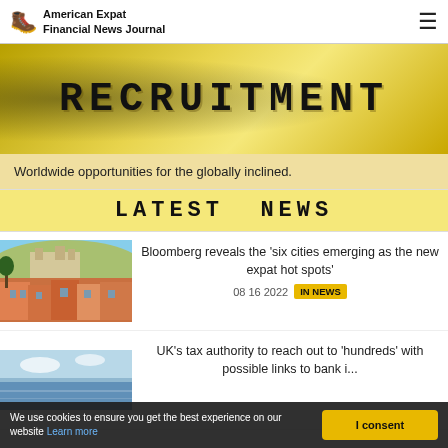American Expat Financial News Journal
[Figure (illustration): Recruitment banner with yellow/gold background and bold western-style text reading RECRUITMENT]
Worldwide opportunities for the globally inclined.
LATEST NEWS
[Figure (photo): Aerial view of a European city with red rooftops and a hillside castle/cathedral, Lisbon style]
Bloomberg reveals the 'six cities emerging as the new expat hot spots'
08 16 2022  IN NEWS
[Figure (photo): Scenic coastal or lakeside view with blue water and sky]
UK's tax authority to reach out to 'hundreds' with possible links to bank i...
We use cookies to ensure you get the best experience on our website Learn more
I consent